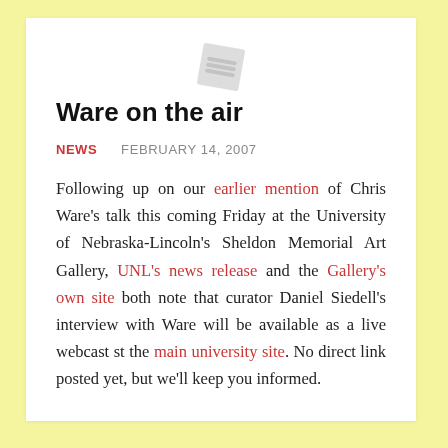Ware on the air
NEWS   FEBRUARY 14, 2007
Following up on our earlier mention of Chris Ware's talk this coming Friday at the University of Nebraska-Lincoln's Sheldon Memorial Art Gallery, UNL's news release and the Gallery's own site both note that curator Daniel Siedell's interview with Ware will be available as a live webcast st the main university site. No direct link posted yet, but we'll keep you informed.